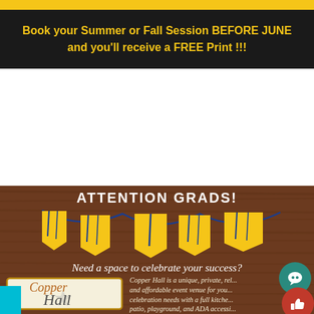Book your Summer or Fall Session BEFORE JUNE and you'll receive a FREE Print !!!
[Figure (illustration): Copper Hall graduation advertisement with bunting banner, Copper Hall logo on cream background, and text about event venue. Bottom section has wood texture background with gold/yellow pennant flags and blue string.]
ATTENTION GRADS!
Need a space to celebrate your success?
Copper Hall is a unique, private, relaxed and affordable event venue for your celebration needs with a full kitchen, patio, playground, and ADA accessible.
Mention this ad to get $5 off per hour